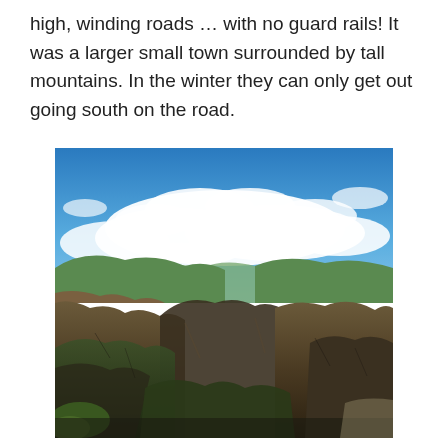high, winding roads … with no guard rails! It was a larger small town surrounded by tall mountains. In the winter they can only get out going south on the road.
[Figure (photo): Panoramic view of a deep canyon with forested rocky cliffs in the foreground, green mountain ridges in the middle distance, and a partly cloudy blue sky above.]